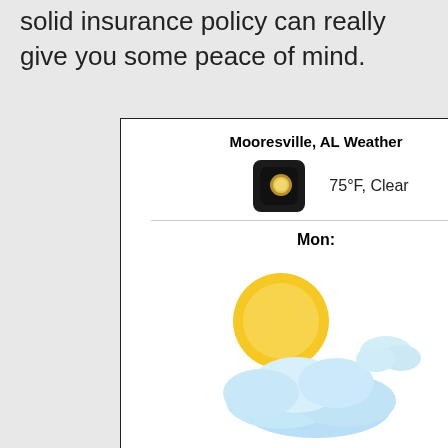solid insurance policy can really give you some peace of mind.
[Figure (infographic): Mooresville, AL Weather widget showing current conditions (75°F, Clear with a small sun icon) and a Monday forecast with a large partly cloudy illustration and temperature range 95°F / 71°F, followed by Tuesday label.]